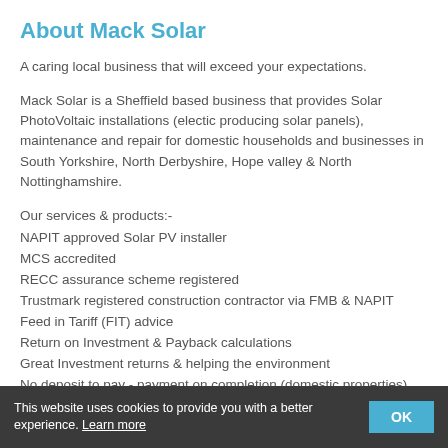About Mack Solar
A caring local business that will exceed your expectations.
Mack Solar is a Sheffield based business that provides Solar PhotoVoltaic installations (electic producing solar panels), maintenance and repair for domestic households and businesses in South Yorkshire, North Derbyshire, Hope valley & North Nottinghamshire.
Our services & products:-
NAPIT approved Solar PV installer
MCS accredited
RECC assurance scheme registered
Trustmark registered construction contractor via FMB & NAPIT
Feed in Tariff (FIT) advice
Return on Investment & Payback calculations
Great Investment returns & helping the environment
No deposit to pay - payment on completion (domestic properties)
This website uses cookies to provide you with a better experience. Learn more   OK